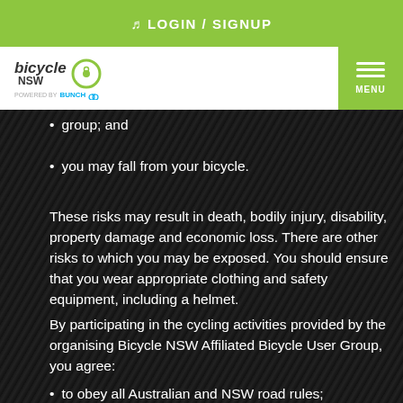LOGIN / SIGNUP
[Figure (logo): Bicycle NSW logo with circular icon, powered by Bunch label]
group; and
you may fall from your bicycle.
These risks may result in death, bodily injury, disability, property damage and economic loss. There are other risks to which you may be exposed. You should ensure that you wear appropriate clothing and safety equipment, including a helmet.
By participating in the cycling activities provided by the organising Bicycle NSW Affiliated Bicycle User Group, you agree:
to obey all Australian and NSW road rules;
that your bicycle and equipment is in good